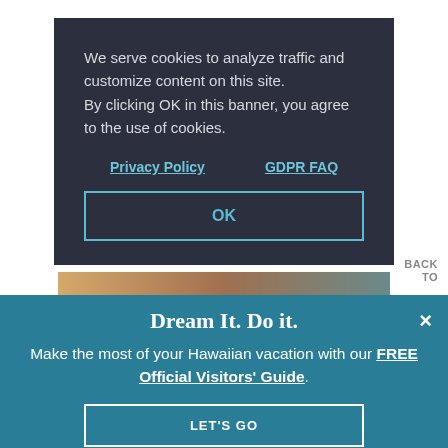We serve cookies to analyze traffic and customize content on this site. By clicking OK in this banner, you agree to the use of cookies.
Privacy Policy    GDPR FAQ
OK
BACK TO
Dream It. Do it.
Make the most of your Hawaiian vacation with our FREE Official Visitors' Guide.
LET'S GO